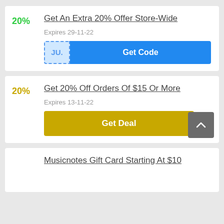Get An Extra 20% Offer Store-Wide
Expires 29-11-22
JU. Get Code
Get 20% Off Orders Of $15 Or More
Expires 13-11-22
Get Deal
Musicnotes Gift Card Starting At $10